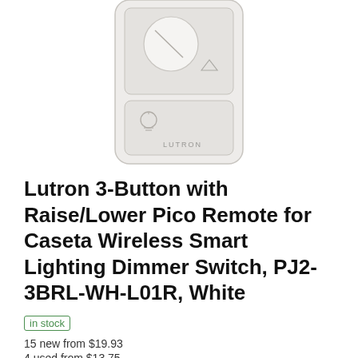[Figure (photo): Lutron Pico remote control device, white colored, showing buttons and LUTRON branding]
Lutron 3-Button with Raise/Lower Pico Remote for Caseta Wireless Smart Lighting Dimmer Switch, PJ2-3BRL-WH-L01R, White
in stock
15 new from $19.93
4 used from $13.75
Free shipping
See on Amazon